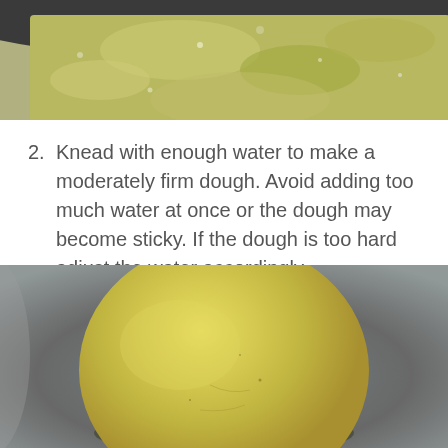[Figure (photo): Close-up photo of green powder (possibly chickpea or spinach flour) in a dark bowl, partially cropped at top]
2. Knead with enough water to make a moderately firm dough. Avoid adding too much water at once or the dough may become sticky. If the dough is too hard adjust the water accordingly.
[Figure (photo): Photo of a round ball of yellow-green dough on a dark grey plate, partially cropped at bottom]